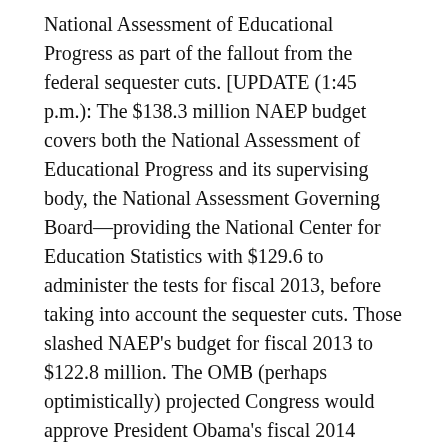National Assessment of Educational Progress as part of the fallout from the federal sequester cuts. [UPDATE (1:45 p.m.): The $138.3 million NAEP budget covers both the National Assessment of Educational Progress and its supervising body, the National Assessment Governing Board—providing the National Center for Education Statistics with $129.6 to administer the tests for fiscal 2013, before taking into account the sequester cuts. Those slashed NAEP's budget for fiscal 2013 to $122.8 million. The OMB (perhaps optimistically) projected Congress would approve President Obama's fiscal 2014 budget, which would give NAEP a slight boost, to $124.6 million. However, OMB also projected NAEP would face an addition cut in fiscal 2015 of 5 percent, or more than $6 million, followed by flat funding in fiscal 2016 and 2017.
Because NAEP has to plan assessment contracts several years in advance, the governing board couldn't wait to find